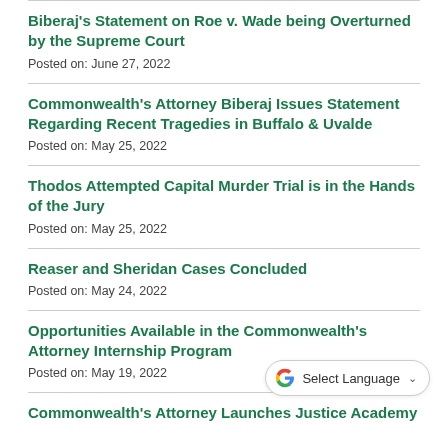Biberaj's Statement on Roe v. Wade being Overturned by the Supreme Court
Posted on: June 27, 2022
Commonwealth's Attorney Biberaj Issues Statement Regarding Recent Tragedies in Buffalo & Uvalde
Posted on: May 25, 2022
Thodos Attempted Capital Murder Trial is in the Hands of the Jury
Posted on: May 25, 2022
Reaser and Sheridan Cases Concluded
Posted on: May 24, 2022
Opportunities Available in the Commonwealth's Attorney Internship Program
Posted on: May 19, 2022
Commonwealth's Attorney Launches Justice Academy